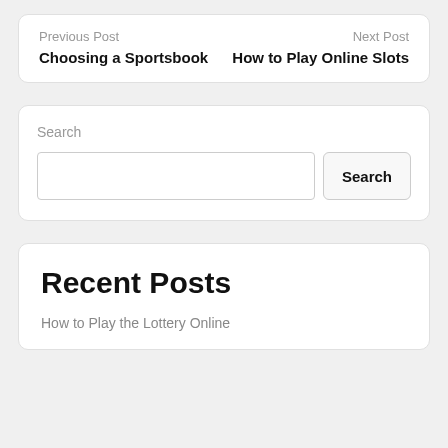Previous Post
Choosing a Sportsbook
Next Post
How to Play Online Slots
Search
Recent Posts
How to Play the Lottery Online